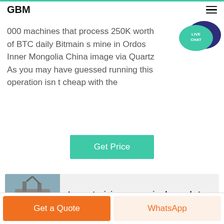GBM
000 machines that process 250K worth of BTC daily Bitmain s mine in Ordos Inner Mongolia China image via Quartz As you may have guessed running this operation isn t cheap with the
[Figure (other): Live Chat bubble icon — teal speech bubble with dark blue chat bubble overlay, text LIVE CHAT]
Get Price
[Figure (photo): Mining equipment photo — dredging or excavation machine on water]
Largest mining companies by market cap
Get a Quote
WhatsApp